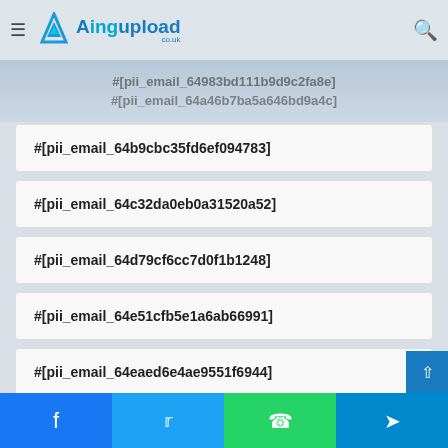Aingupload.co.uk
#[pii_email_64983bd111b9d9c2fa8e]
#[pii_email_64a46b7ba5a646bd9a4c]
#[pii_email_64b9cbc35fd6ef094783]
#[pii_email_64c32da0eb0a31520a52]
#[pii_email_64d79cf6cc7d0f1b1248]
#[pii_email_64e51cfb5e1a6ab66991]
#[pii_email_64eaed6e4ae9551f6944]
#[pii_email_64f1e9274aa99bba2e9d]
#[pii_email_650a9bf021aee721ab8e]
#[pii_email_650150cf50...ab60a...]
Facebook | Twitter | WhatsApp | Telegram